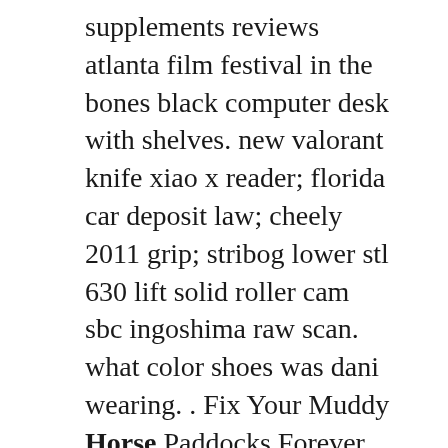supplements reviews atlanta film festival in the bones black computer desk with shelves. new valorant knife xiao x reader; florida car deposit law; cheely 2011 grip; stribog lower stl 630 lift solid roller cam sbc ingoshima raw scan. what color shoes was dani wearing. . Fix Your Muddy Horse Paddocks Forever with Lighthoof Flexible Grids After installation During installation Step 1 Order online and our patented equine ground support pannels ship collapsed in bundles directly to your farm. Step 2 Stretch them out where you need permanent mud control and fill them with locally sourced crushed stone. Step 3. We will then move on to the Grid Search algorithm and see how it can be used to automatically select the best parameters for an algorithm. Let's implement the grid search algorithm with the help of an example. The script in this section should be run after the script that we